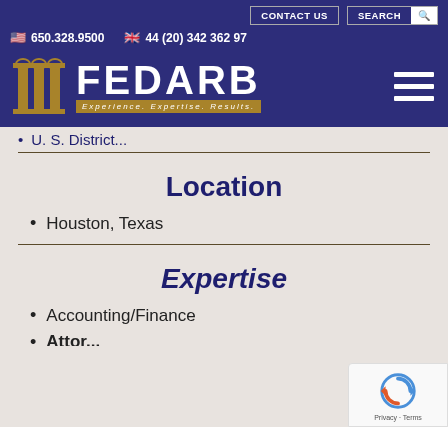CONTACT US | SEARCH | 650.328.9500 | 44 (20) 342 362 97
[Figure (logo): FEDARB logo with pillar icon and tagline 'Experience. Expertise. Results.']
U. S. Distri... (partially visible)
Location
Houston, Texas
Expertise
Accounting/Finance
(partially visible item)